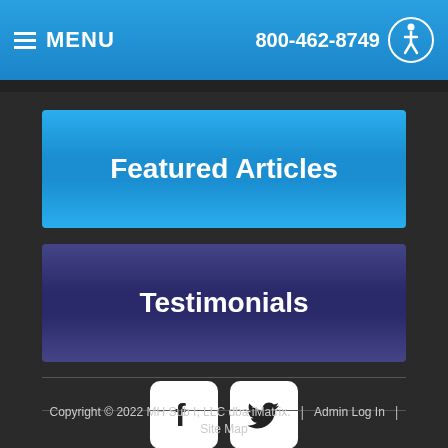MENU  800-462-8749
Featured Articles
Testimonials
[Figure (logo): Facebook and Twitter social media icons]
Copyright © 2022 MH Sub I, LLC dba iMatrix.  |  Admin Log In  |  Site Map